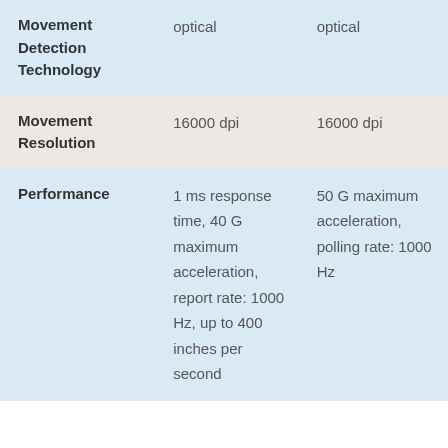| Feature | Device 1 | Device 2 |
| --- | --- | --- |
| Movement Detection Technology | optical | optical |
| Movement Resolution | 16000 dpi | 16000 dpi |
| Performance | 1 ms response time, 40 G maximum acceleration, report rate: 1000 Hz, up to 400 inches per second | 50 G maximum acceleration, polling rate: 1000 Hz |